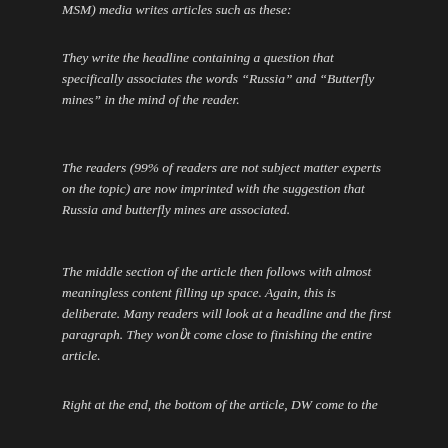MSM) media writes articles such as these:
They write the headline containing a question that specifically associates the words “Russia” and “Butterfly mines” in the mind of the reader.
The readers (99% of readers are not subject matter experts on the topic) are now imprinted with the suggestion that Russia and butterfly mines are associated.
The middle section of the article then follows with almost meaningless content filling up space. Again, this is deliberate. Many readers will look at a headline and the first paragraph. They won’t come close to finishing the entire article.
Right at the end, the bottom of the article, DW come to the staggering conclusion that no, Russia is not dispersing these butterfly mines.
Also note the suspect and unreliable institutions they source for “fact checking”. They even included MI-6 and US Government associated fake amateur hour data analysts “Bellingcat”.